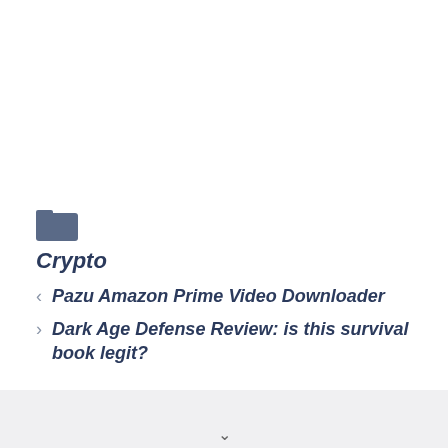[Figure (illustration): Folder icon in slate blue/grey color]
Crypto
Pazu Amazon Prime Video Downloader
Dark Age Defense Review: is this survival book legit?